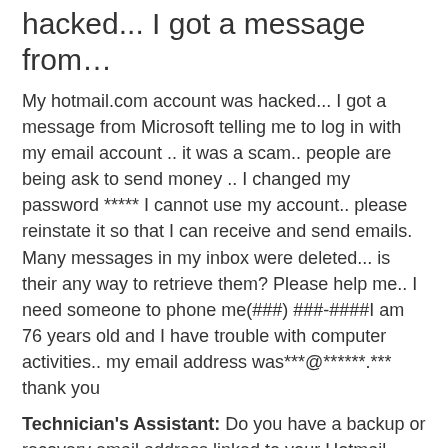hacked... I got a message from…
My hotmail.com account was hacked... I got a message from Microsoft telling me to log in with my email account .. it was a scam.. people are being ask to send money .. I changed my password ***** I cannot use my account.. please reinstate it so that I can receive and send emails. Many messages in my inbox were deleted... is their any way to retrieve them? Please help me.. I need someone to phone me(###) ###-####I am 76 years old and I have trouble with computer activities.. my email address was***@******.*** thank you
Technician's Assistant: Do you have a backup or recovery email address linked to your Hotmail account?
No..
Technician's Assistant: Have you checked your other online accounts for tampering, especially if they have the same username and password ***** your email?